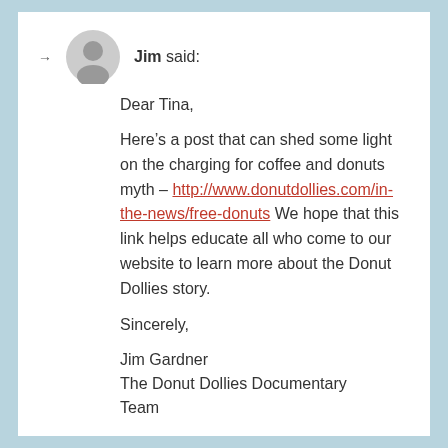Jim said:
Dear Tina,
Here’s a post that can shed some light on the charging for coffee and donuts myth – http://www.donutdollies.com/in-the-news/free-donuts We hope that this link helps educate all who come to our website to learn more about the Donut Dollies story.
Sincerely,
Jim Gardner
The Donut Dollies Documentary Team